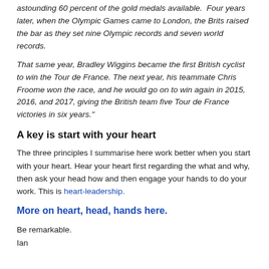astounding 60 percent of the gold medals available.  Four years later, when the Olympic Games came to London, the Brits raised the bar as they set nine Olympic records and seven world records.
That same year, Bradley Wiggins became the first British cyclist to win the Tour de France. The next year, his teammate Chris Froome won the race, and he would go on to win again in 2015, 2016, and 2017, giving the British team five Tour de France victories in six years."
A key is start with your heart
The three principles I summarise here work better when you start with your heart. Hear your heart first regarding the what and why, then ask your head how and then engage your hands to do your work. This is heart-leadership.
More on heart, head, hands here.
Be remarkable.
Ian